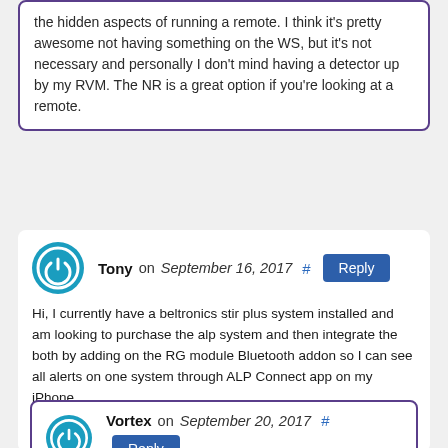the hidden aspects of running a remote. I think it's pretty awesome not having something on the WS, but it's not necessary and personally I don't mind having a detector up by my RVM. The NR is a great option if you're looking at a remote.
Tony on September 16, 2017  #  Reply
Hi, I currently have a beltronics stir plus system installed and am looking to purchase the alp system and then integrate the both by adding on the RG module Bluetooth addon so I can see all alerts on one system through ALP Connect app on my iPhone.
Did I get that right and can I setup the system that way?
Vortex on September 20, 2017  #  Reply  Author